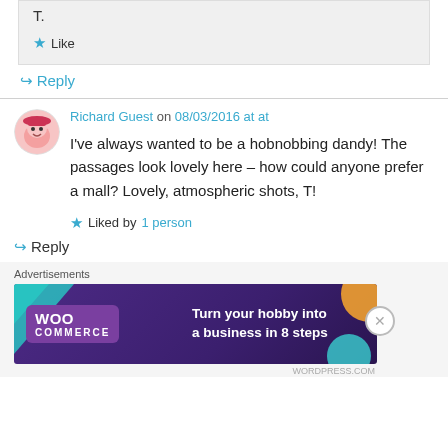T.
★ Like
↪ Reply
Richard Guest on 08/03/2016 at at
I've always wanted to be a hobnobbing dandy! The passages look lovely here – how could anyone prefer a mall? Lovely, atmospheric shots, T!
★ Liked by 1 person
↪ Reply
Advertisements
[Figure (illustration): WooCommerce advertisement banner: 'Turn your hobby into a business in 8 steps']